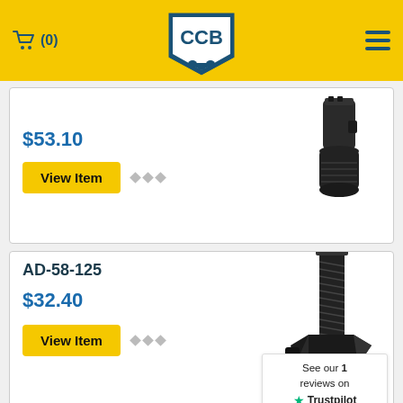CCB (0)
$53.10
View Item
[Figure (photo): Black metal cylindrical adapter/coupling part, two-piece]
AD-58-125
$32.40
View Item
[Figure (photo): Black metal bolt/cam follower hardware part with threaded shaft]
See our 1 reviews on Trustpilot